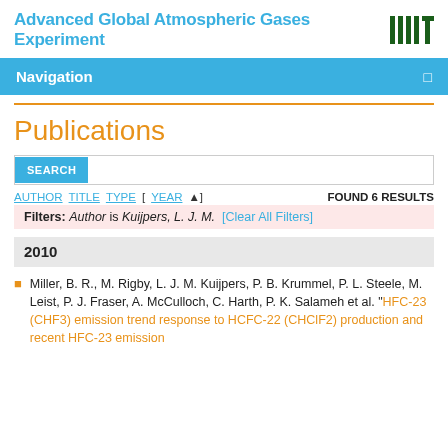Advanced Global Atmospheric Gases Experiment
Publications
AUTHOR TITLE TYPE [ YEAR ] FOUND 6 RESULTS
Filters: Author is Kuijpers, L. J. M. [Clear All Filters]
2010
Miller, B. R., M. Rigby, L. J. M. Kuijpers, P. B. Krummel, P. L. Steele, M. Leist, P. J. Fraser, A. McCulloch, C. Harth, P. K. Salameh et al. "HFC-23 (CHF3) emission trend response to HCFC-22 (CHClF2) production and recent HFC-23 emission